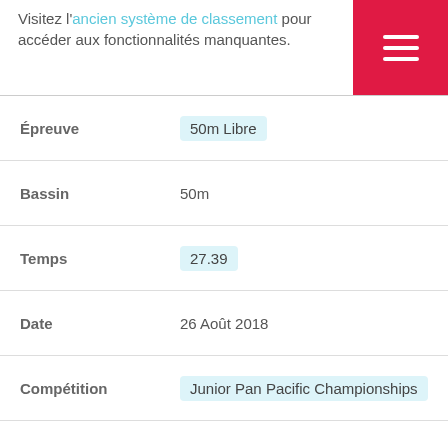Visitez l'ancien système de classement pour accéder aux fonctionnalités manquantes.
| Champ | Valeur |
| --- | --- |
| Épreuve | 50m Libre |
| Bassin | 50m |
| Temps | 27.39 |
| Date | 26 Août 2018 |
| Compétition | Junior Pan Pacific Championships |
| Status |  |
Épreuve  100m Papillon